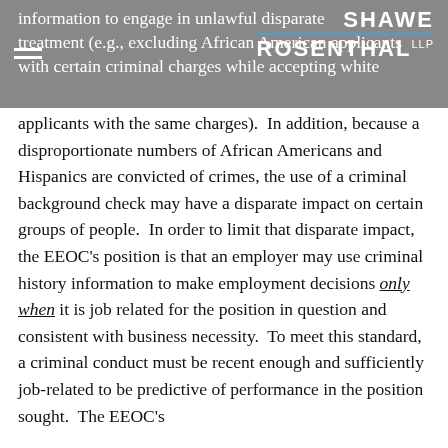SHAWE ROSENTHAL LLP
information to engage in unlawful disparate treatment (e.g., excluding African American applicants with certain criminal charges while accepting white applicants with the same charges).  In addition, because a disproportionate numbers of African Americans and Hispanics are convicted of crimes, the use of a criminal background check may have a disparate impact on certain groups of people.  In order to limit that disparate impact, the EEOC's position is that an employer may use criminal history information to make employment decisions only when it is job related for the position in question and consistent with business necessity.  To meet this standard, a criminal conduct must be recent enough and sufficiently job-related to be predictive of performance in the position sought.  The EEOC's